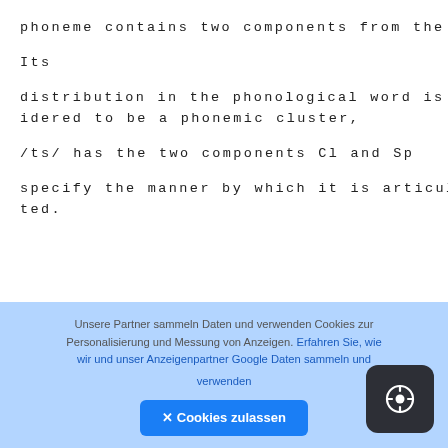phoneme contains two components from the same dimension and may be thought of as a phonetic cluster.
Its
distribution in the phonological word is that of a single segment, so it is not considered to be a phonemic cluster,
/ts/ has the two components Cl and Sp
specify the manner by which it is articulated.
Unsere Partner sammeln Daten und verwenden Cookies zur Personalisierung und Messung von Anzeigen. Erfahren Sie, wie wir und unser Anzeigenpartner Google Daten sammeln und verwenden
✕ Cookies zulassen